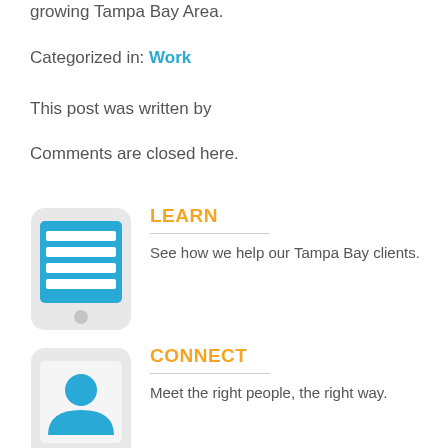growing Tampa Bay Area.
Categorized in: Work
This post was written by
Comments are closed here.
[Figure (illustration): Smartphone icon with a list/content icon on screen, representing LEARN section]
LEARN
See how we help our Tampa Bay clients.
[Figure (illustration): Smartphone icon with a person/user icon on screen, representing CONNECT section]
CONNECT
Meet the right people, the right way.